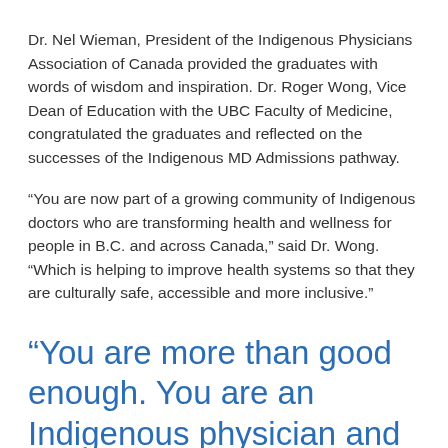Dr. Nel Wieman, President of the Indigenous Physicians Association of Canada provided the graduates with words of wisdom and inspiration. Dr. Roger Wong, Vice Dean of Education with the UBC Faculty of Medicine, congratulated the graduates and reflected on the successes of the Indigenous MD Admissions pathway.
“You are now part of a growing community of Indigenous doctors who are transforming health and wellness for people in B.C. and across Canada,” said Dr. Wong. “Which is helping to improve health systems so that they are culturally safe, accessible and more inclusive.”
“You are more than good enough. You are an Indigenous physician and that allows you